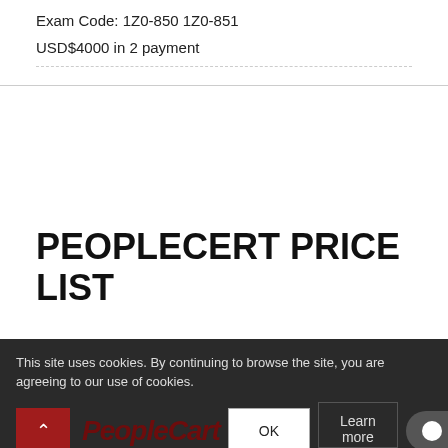Exam Code: 1Z0-850 1Z0-851
USD$4000 in 2 payment
PEOPLECERT PRICE LIST
This site uses cookies. By continuing to browse the site, you are agreeing to our use of cookies.
OK
Learn more
Chat